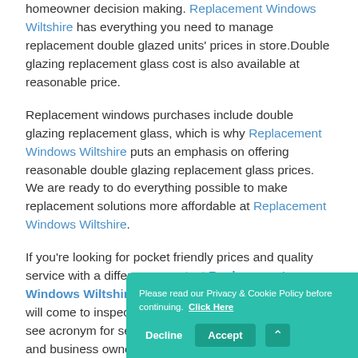homeowner decision making. Replacement Windows Wiltshire has everything you need to manage replacement double glazed units' prices in store.Double glazing replacement glass cost is also available at reasonable price.
Replacement windows purchases include double glazing replacement glass, which is why Replacement Windows Wiltshire puts an emphasis on offering reasonable double glazing replacement glass prices. We are ready to do everything possible to make replacement solutions more affordable at Replacement Windows Wiltshire.
If you're looking for pocket friendly prices and quality service with a difference, contact Replacement Windows Wiltshire in Wiltshire. Call and expert staff will come to inspect your property. SMART is not just see acronym for setting achievable goals in UK home and business owners considering replacement